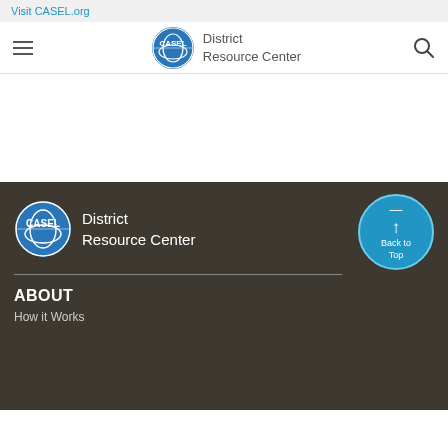Visit CASEL.org
[Figure (logo): CASEL District Resource Center logo with hamburger menu and search icon in navigation bar]
[Figure (logo): CASEL District Resource Center logo in footer with Back to Top button]
ABOUT
How it Works